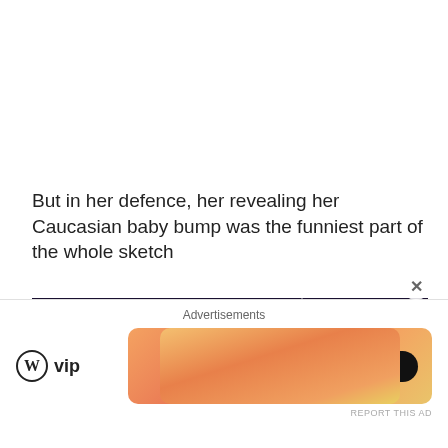But in her defence, her revealing her Caucasian baby bump was the funniest part of the whole sketch
[Figure (photo): A dark scene from a TV comedy sketch show called 'Bossy Rossy After Dark'. Three performers are on stage — one in a floral skirt and white jacket on the left, one blonde in a denim jacket in the center, and one on the right lifting their shirt to reveal their stomach. A neon sign reading 'BOSSY ROSSY After Dark' is visible on the left.]
Advertisements
[Figure (logo): WordPress VIP logo with circular W icon followed by 'vip' text]
[Figure (infographic): Orange/peach gradient ad banner with a 'Learn more →' button in dark pill shape]